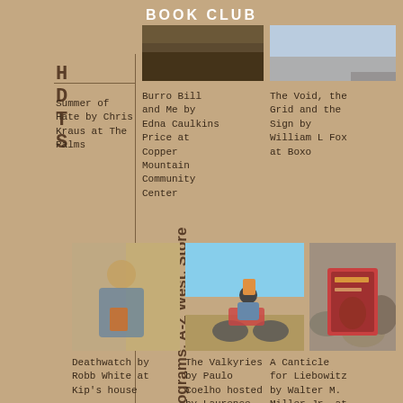BOOK CLUB
HDTS
Information, Programs, A-Z West, Store
[Figure (photo): Top center photo, dark landscape/book cover image]
[Figure (photo): Top right photo, light blue/gray image]
Summer of Hate by Chris Kraus at The Palms
Burro Bill and Me by Edna Caulkins Price at Copper Mountain Community Center
The Void, the Grid and the Sign by William L Fox at Boxo
[Figure (photo): Bottom left: person holding a book indoors in front of corrugated wall]
[Figure (photo): Bottom center: motorcyclist in desert holding a book]
[Figure (photo): Bottom right: book cover among rocks - A Canticle for Liebowitz]
Deathwatch by Robb White at Kip's house
The Valkyries by Paulo Coelho hosted by Laurence and John Alexis
A Canticle for Liebowitz by Walter M. Miller Jr. at Andrea's house